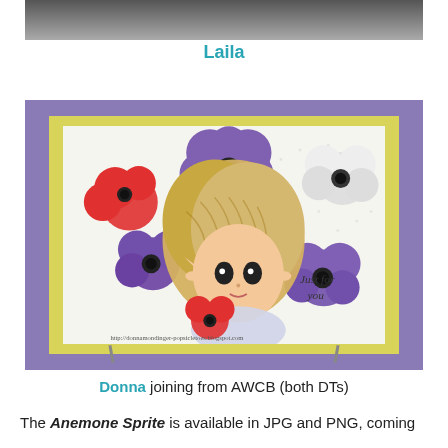[Figure (photo): Top portion of a cropped photo showing a dark object (likely a card or stand) against a light background]
Laila
[Figure (photo): A handmade greeting card featuring an illustrated sprite/fairy girl with blonde hair adorned with colorful anemone flowers (red, purple, white). The card has a purple border with a yellow-green inner border and white center. Text reads 'Just for you'. URL watermark: http://donnamondinger-popsicletoes.blogspot.com]
Donna joining from AWCB (both DTs)
The Anemone Sprite is available in JPG and PNG, coming